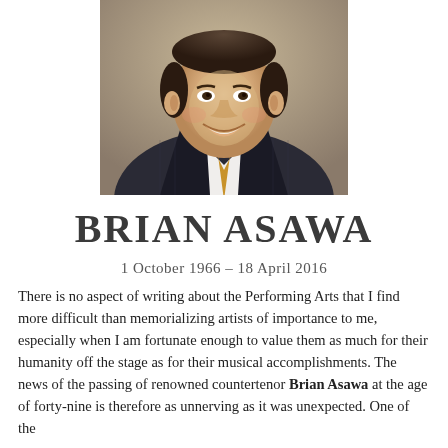[Figure (photo): Headshot portrait of Brian Asawa, a man in a dark pinstripe suit with a gold/orange tie and white dress shirt, smiling, professional studio photo]
BRIAN ASAWA
1 October 1966 – 18 April 2016
There is no aspect of writing about the Performing Arts that I find more difficult than memorializing artists of importance to me, especially when I am fortunate enough to value them as much for their humanity off the stage as for their musical accomplishments. The news of the passing of renowned countertenor Brian Asawa at the age of forty-nine is therefore as unnerving as it was unexpected. One of the